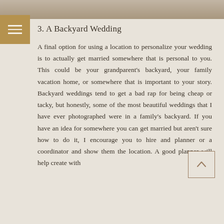[Figure (photo): Top photo strip showing what appears to be a sandy/outdoor wedding scene with scattered papers or cards]
3. A Backyard Wedding
A final option for using a location to personalize your wedding is to actually get married somewhere that is personal to you. This could be your grandparent's backyard, your family vacation home, or somewhere that is important to your story. Backyard weddings tend to get a bad rap for being cheap or tacky, but honestly, some of the most beautiful weddings that I have ever photographed were in a family's backyard. If you have an idea for somewhere you can get married but aren't sure how to do it, I encourage you to hire and planner or a coordinator and show them the location. A good planner will help create with